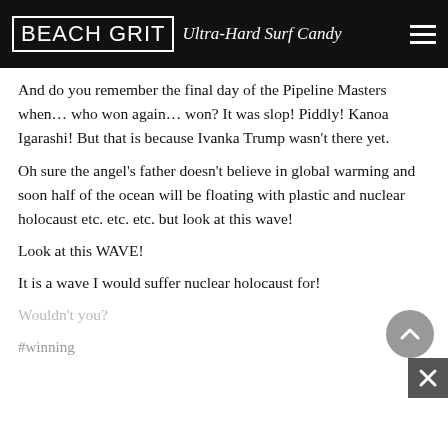BEACH GRIT Ultra-Hard Surf Candy
And do you remember the final day of the Pipeline Masters when… who won again… won? It was slop! Piddly! Kanoa Igarashi! But that is because Ivanka Trump wasn't there yet.
Oh sure the angel's father doesn't believe in global warming and soon half of the ocean will be floating with plastic and nuclear holocaust etc. etc. etc. but look at this wave!
Look at this WAVE!
It is a wave I would suffer nuclear holocaust for!
Wouldn't you?
#winning